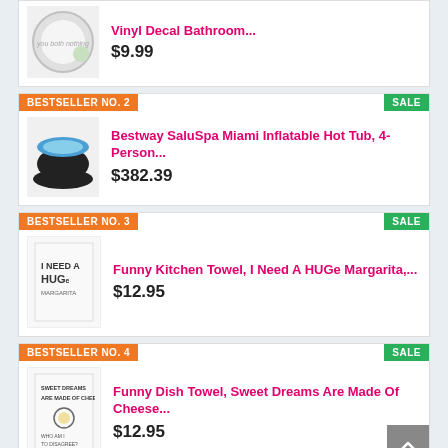Vinyl Decal Bathroom... $9.99
BESTSELLER NO. 2 | SALE
Bestway SaluSpa Miami Inflatable Hot Tub, 4-Person... $382.39
BESTSELLER NO. 3 | SALE
Funny Kitchen Towel, I Need A HUGe Margarita,... $12.95
BESTSELLER NO. 4 | SALE
Funny Dish Towel, Sweet Dreams Are Made Of Cheese... $12.95
Stainless Steel Comb...